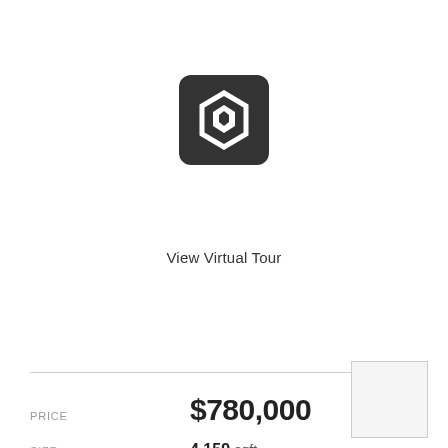[Figure (logo): Virtual tour icon: dark rounded square with white hexagon and droplet shape in center]
View Virtual Tour
PRICE
$780,000
SIZE
4,159 sqft
LOT SIZE
6,250 sqft